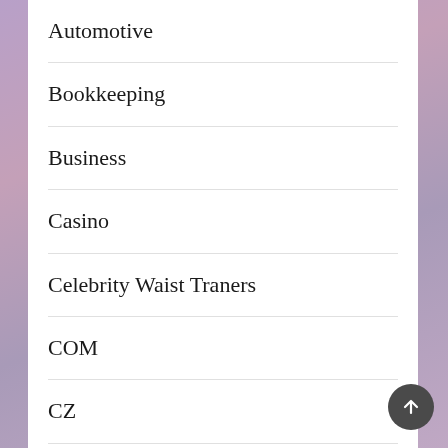Automotive
Bookkeeping
Business
Casino
Celebrity Waist Traners
COM
CZ
DE